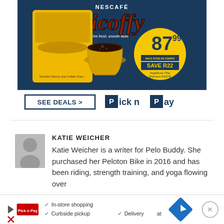[Figure (advertisement): Nescafe Ricoffy advertisement showing product tin with coffee cup, price badge showing 87.99 with SAVE R22, and Pick n Pay branding with SEE DEALS > button]
[Figure (photo): Grey silhouette avatar placeholder for author photo]
KATIE WEICHER
Katie Weicher is a writer for Pelo Buddy. She purchased her Peloton Bike in 2016 and has been riding, strength training, and yoga flowing over
[Figure (advertisement): Bottom advertisement banner with In-store shopping, Curbside pickup, Delivery options, navigation icon, and close button]